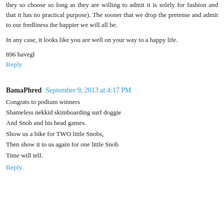they so choose so long as they are willing to admit it is solely for fashion and that it has no practical purpose). The sooner that we drop the pretense and admit to our fredliness the happier we will all be.
In any case, it looks like you are well on your way to a happy life.
896 havegl
Reply
BamaPhred  September 9, 2013 at 4:17 PM
Congrats to podium winners
Shameless nekkid skimboarding surf doggie
And Snob and his head games.
Show us a bike for TWO little Snobs,
Then show it to us again for one little Snob
Time will tell.
Reply